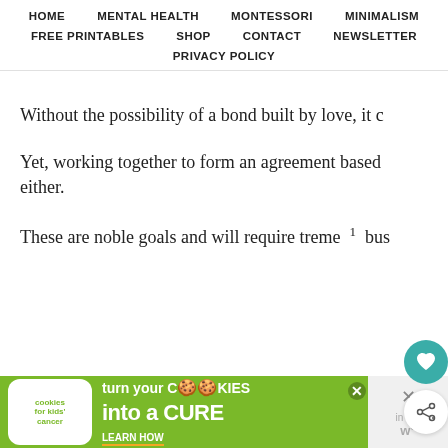HOME | MENTAL HEALTH | MONTESSORI | MINIMALISM | FREE PRINTABLES | SHOP | CONTACT | NEWSLETTER | PRIVACY POLICY
Without the possibility of a bond built by love, it c
Yet, working together to form an agreement based
either.
These are noble goals and will require treme  1  bus
[Figure (other): Cookies for Kids Cancer advertisement banner: 'turn your COOKIES into a CURE LEARN HOW']